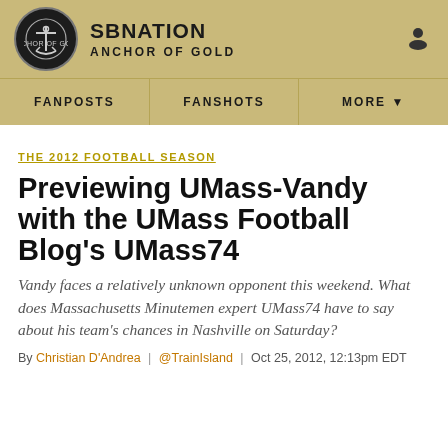SBNation | ANCHOR OF GOLD
THE 2012 FOOTBALL SEASON
Previewing UMass-Vandy with the UMass Football Blog's UMass74
Vandy faces a relatively unknown opponent this weekend. What does Massachusetts Minutemen expert UMass74 have to say about his team's chances in Nashville on Saturday?
By Christian D'Andrea | @TrainIsland | Oct 25, 2012, 12:13pm EDT